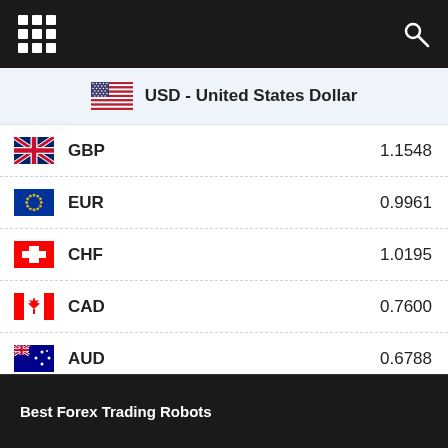USD - United States Dollar
GBP 1.1548
EUR 0.9961
CHF 1.0195
CAD 0.7600
AUD 0.6788
JPY 0.0071
Best Forex Trading Robots